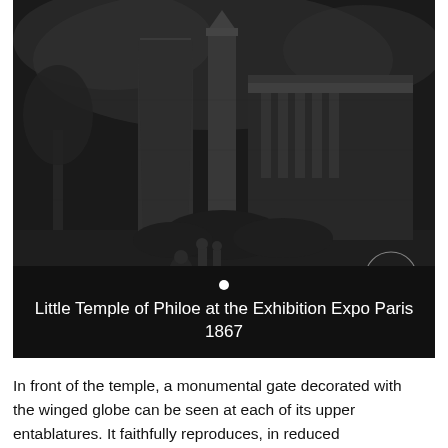[Figure (illustration): Dark engraving/illustration of the Little Temple of Philoe as displayed at the Paris Exhibition Expo of 1867. Shows a monumental Egyptian-style gate with large columns, a crowd of people in 19th century dress in the foreground, trees to the left, and temple structures to the right. A circular watermark stamp is visible in the lower-right area of the image.]
Little Temple of Philoe at the Exhibition Expo Paris 1867
In front of the temple, a monumental gate decorated with the winged globe can be seen at each of its upper entablatures. It faithfully reproduces, in reduced